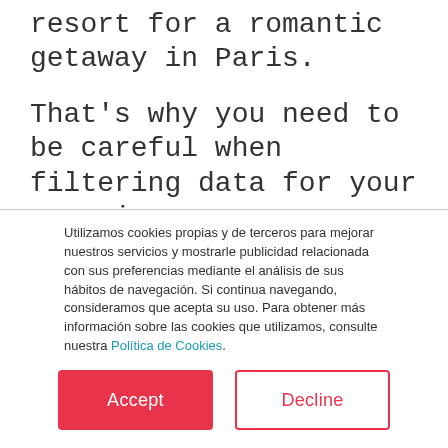resort for a romantic getaway in Paris.
That's why you need to be careful when filtering data for your campaigns.
You should know how long in advance different kinds of trips are planned, and how to cross this information with your users' behavior patterns. By doing this,
Utilizamos cookies propias y de terceros para mejorar nuestros servicios y mostrarle publicidad relacionada con sus preferencias mediante el análisis de sus hábitos de navegación. Si continua navegando, consideramos que acepta su uso. Para obtener más información sobre las cookies que utilizamos, consulte nuestra Política de Cookies.
Accept
Decline